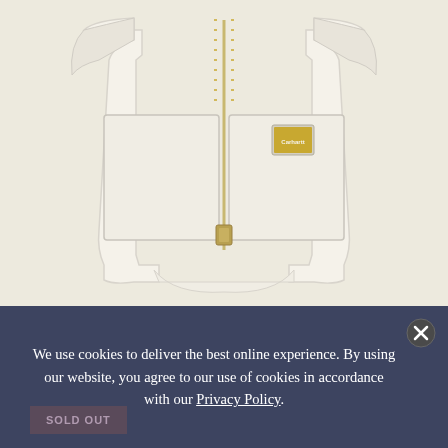[Figure (photo): Close-up product photo of a white/cream Carhartt vest with gold zipper and two large front pockets, shown flat on a beige background. A small Carhartt logo patch is visible on the right chest pocket.]
[Figure (photo): Thumbnail gallery strip showing three product views of the white Carhartt vest: front view, side/back view, and a detail shot showing the lining pattern and label.]
We use cookies to deliver the best online experience. By using our website, you agree to our use of cookies in accordance with our Privacy Policy.
SOLD OUT